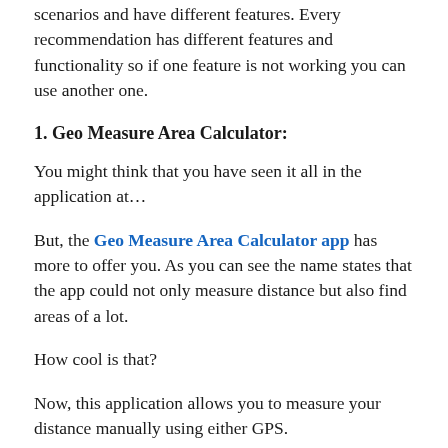scenarios and have different features. Every recommendation has different features and functionality so if one feature is not working you can use another one.
1. Geo Measure Area Calculator:
You might think that you have seen it all in the application at…
But, the Geo Measure Area Calculator app has more to offer you. As you can see the name states that the app could not only measure distance but also find areas of a lot.
How cool is that?
Now, this application allows you to measure your distance manually using either GPS.
To explain more about the manual measuring of the distance that lets you know the distance by simply plotting